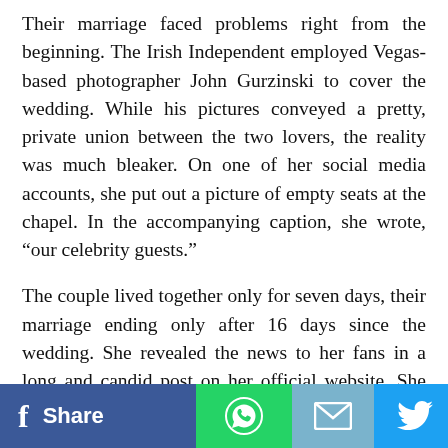Their marriage faced problems right from the beginning. The Irish Independent employed Vegas-based photographer John Gurzinski to cover the wedding. While his pictures conveyed a pretty, private union between the two lovers, the reality was much bleaker. On one of her social media accounts, she put out a picture of empty seats at the chapel. In the accompanying caption, she wrote, “our celebrity guests.”
The couple lived together only for seven days, their marriage ending only after 16 days since the wedding. She revealed the news to her fans in a long and candid post on her official website. She put the blame of their separation on the “intense pressure” that was placed on her husband by his family because of his decision to